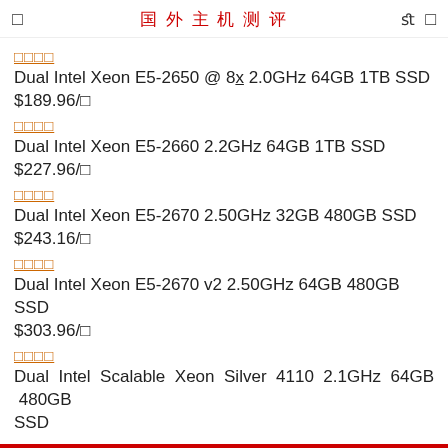国外主机测评
□□□□
Dual Intel Xeon E5-2650 @ 8x 2.0GHz 64GB 1TB SSD
$189.96/□
□□□□
Dual Intel Xeon E5-2660 2.2GHz 64GB 1TB SSD
$227.96/□
□□□□
Dual Intel Xeon E5-2670 2.50GHz 32GB 480GB SSD
$243.16/□
□□□□
Dual Intel Xeon E5-2670 v2 2.50GHz 64GB 480GB SSD
$303.96/□
□□□□
Dual Intel Scalable Xeon Silver 4110 2.1GHz 64GB 480GB SSD